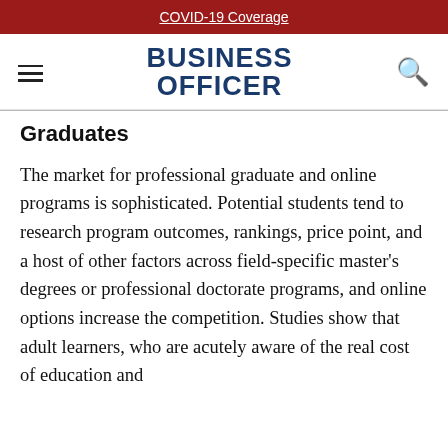COVID-19 Coverage
[Figure (logo): Business Officer magazine logo with hamburger menu and search icon]
Graduates
The market for professional graduate and online programs is sophisticated. Potential students tend to research program outcomes, rankings, price point, and a host of other factors across field-specific master’s degrees or professional doctorate programs, and online options increase the competition. Studies show that adult learners, who are acutely aware of the real cost of education and